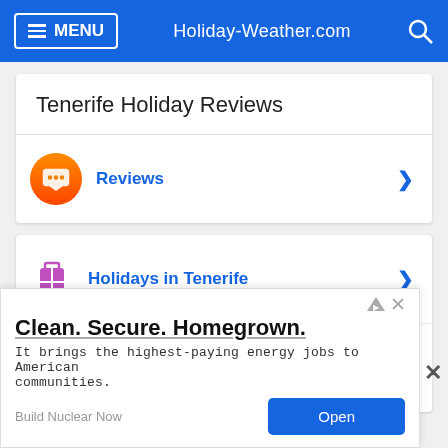MENU | Holiday-Weather.com
Tenerife Holiday Reviews
Reviews
Holidays in Tenerife
Hotels in Tenerife
Clean. Secure. Homegrown. It brings the highest-paying energy jobs to American communities. Build Nuclear Now  Open